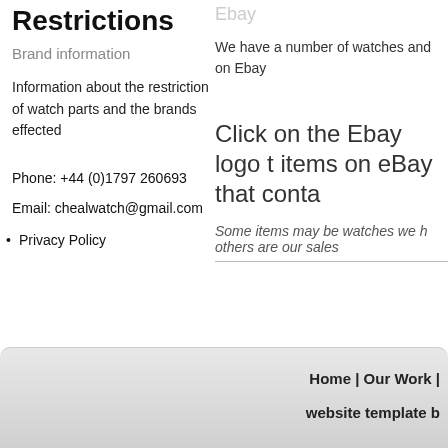Restrictions
Brand information
Information about the restriction of watch parts and the brands effected
Phone: +44 (0)1797 260693
Email: chealwatch@gmail.com
Privacy Policy
Ebay
We have a number of watches and on Ebay
Click on the Ebay logo t items on eBay that conta
Some items may be watches we h others are our sales
Home | Our Work | website template b